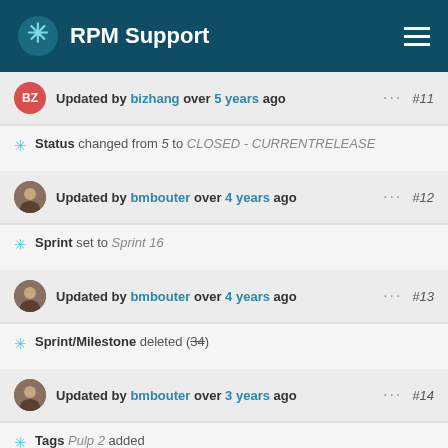RPM Support
Updated by bizhang over 5 years ago #11
Status changed from 5 to CLOSED - CURRENTRELEASE
Updated by bmbouter over 4 years ago #12
Sprint set to Sprint 16
Updated by bmbouter over 4 years ago #13
Sprint/Milestone deleted (34)
Updated by bmbouter over 3 years ago #14
Tags Pulp 2 added